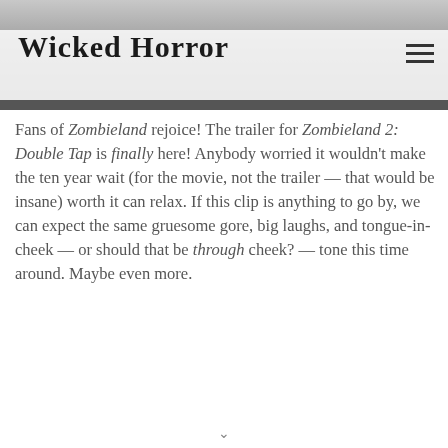Wicked Horror
Fans of Zombieland rejoice! The trailer for Zombieland 2: Double Tap is finally here! Anybody worried it wouldn't make the ten year wait (for the movie, not the trailer — that would be insane) worth it can relax. If this clip is anything to go by, we can expect the same gruesome gore, big laughs, and tongue-in-cheek — or should that be through cheek? — tone this time around. Maybe even more.